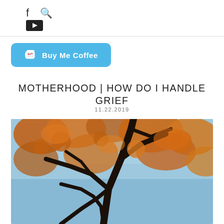navigation icons (f, search)
[Figure (logo): YouTube button icon (black rounded rectangle with play arrow)]
[Figure (illustration): Buy Me Coffee button - light blue rounded rectangle with coffee cup icon and text 'Buy Me Coffee']
MOTHERHOOD | HOW DO I HANDLE GRIEF
11.22.2019
[Figure (photo): Upward-looking photo through autumn tree branches with orange and red leaves against a light blue sky]